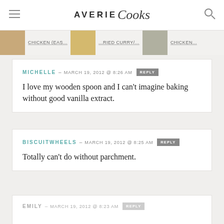AVERIE Cooks
[Figure (screenshot): Navigation strip with food thumbnail images and partially visible category labels: Chicken (Eas..., ...fried Curry/..., Chicken...]
MICHELLE – MARCH 19, 2012 @ 8:26 AM  REPLY
I love my wooden spoon and I can't imagine baking without good vanilla extract.
BISCUITWHEELS – MARCH 19, 2012 @ 8:25 AM  REPLY
Totally can't do without parchment.
EMILY – MARCH 19, 2012 @ 8:23 AM  REPLY